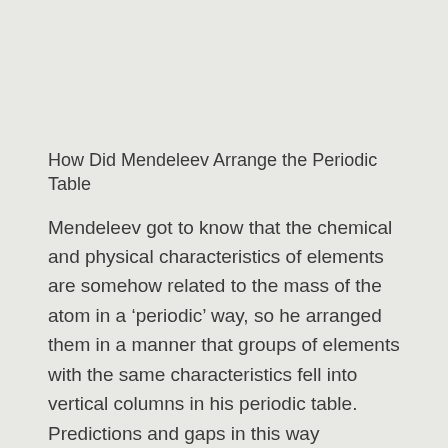How Did Mendeleev Arrange the Periodic Table
Mendeleev got to know that the chemical and physical characteristics of elements are somehow related to the mass of the atom in a ‘periodic’ way, so he arranged them in a manner that groups of elements with the same characteristics fell into vertical columns in his periodic table. Predictions and gaps in this way